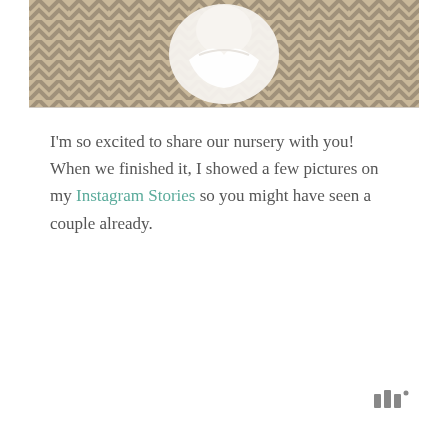[Figure (photo): Partial photo of a nursery scene showing a baby wrapped in white fabric lying on a chevron-patterned rug in beige and tan tones.]
I'm so excited to share our nursery with you! When we finished it, I showed a few pictures on my Instagram Stories so you might have seen a couple already.
WordPress logo mark (three vertical bars with superscript dot)